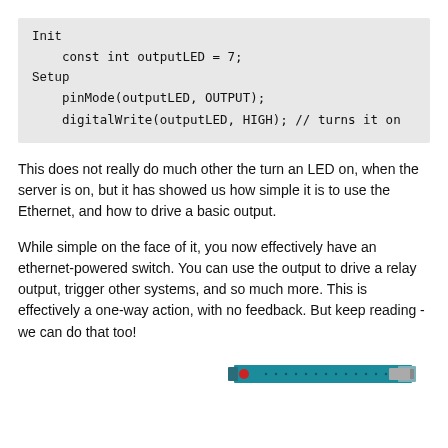Init
    const int outputLED = 7;
Setup
    pinMode(outputLED, OUTPUT);
    digitalWrite(outputLED, HIGH); // turns it on
This does not really do much other the turn an LED on, when the server is on, but it has showed us how simple it is to use the Ethernet, and how to drive a basic output.
While simple on the face of it, you now effectively have an ethernet-powered switch. You can use the output to drive a relay output, trigger other systems, and so much more. This is effectively a one-way action, with no feedback. But keep reading - we can do that too!
[Figure (photo): An Arduino Ethernet shield or similar board shown from the side, teal/blue colored PCB with a red component and connector pins visible.]